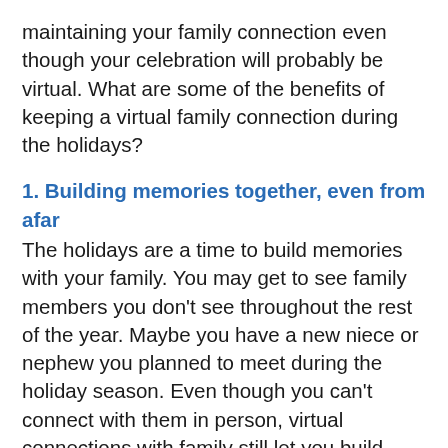maintaining your family connection even though your celebration will probably be virtual. What are some of the benefits of keeping a virtual family connection during the holidays?
1. Building memories together, even from afar
The holidays are a time to build memories with your family. You may get to see family members you don't see throughout the rest of the year. Maybe you have a new niece or nephew you planned to meet during the holiday season. Even though you can't connect with them in person, virtual connections with family still let you build memories together. Even if it means that everyone is seated at